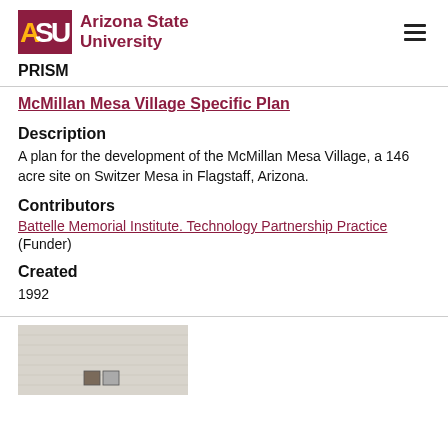ASU Arizona State University | PRISM
McMillan Mesa Village Specific Plan
Description
A plan for the development of the McMillan Mesa Village, a 146 acre site on Switzer Mesa in Flagstaff, Arizona.
Contributors
Battelle Memorial Institute. Technology Partnership Practice (Funder)
Created
1992
[Figure (photo): Thumbnail preview image of the McMillan Mesa Village Specific Plan document, shown as a greyed document scan with two small photo thumbnails visible at the bottom center.]